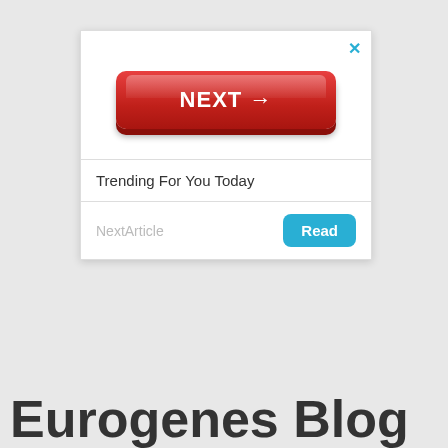[Figure (screenshot): Ad popup with red NEXT button, close X in top-right corner, and Trending For You Today section with NextArticle and Read button]
Eurogenes Blog